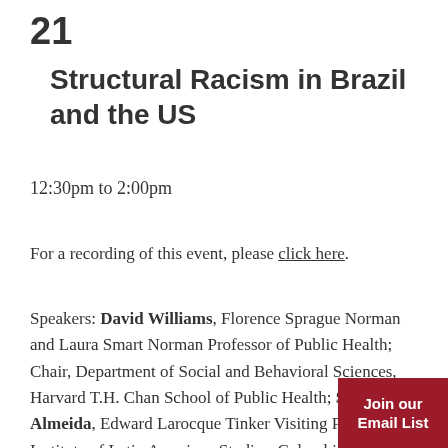21
Structural Racism in Brazil and the US
12:30pm to 2:00pm
For a recording of this event, please click here.
Speakers: David Williams, Florence Sprague Norman and Laura Smart Norman Professor of Public Health; Chair, Department of Social and Behavioral Sciences, Harvard T.H. Chan School of Public Health; Silvio Almeida, Edward Larocque Tinker Visiting Professor, Institute of Latin American Studies, Columbia University;